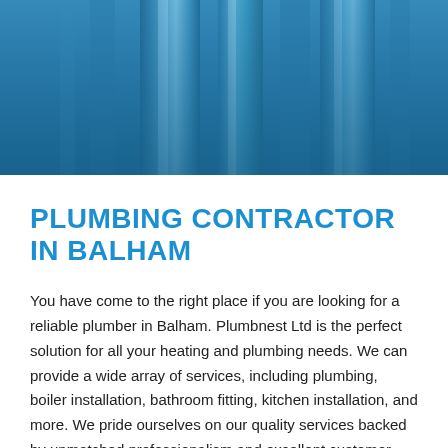[Figure (photo): Blue-tinted photo of plumbing pipes, used as a hero/banner image at the top of the page]
PLUMBING CONTRACTOR IN BALHAM
You have come to the right place if you are looking for a reliable plumber in Balham. Plumbnest Ltd is the perfect solution for all your heating and plumbing needs. We can provide a wide array of services, including plumbing, boiler installation, bathroom fitting, kitchen installation, and more. We pride ourselves on our quality services backed by unmatched professionalism and excellent customer service.